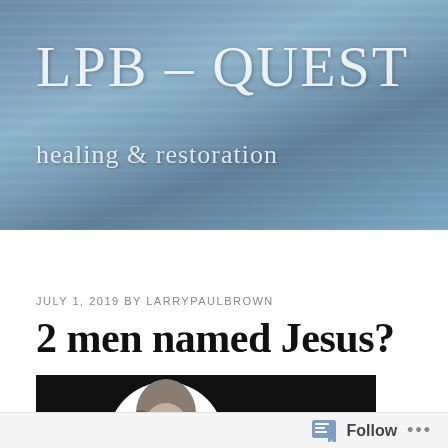LPB – QUEST
healing & restoration
≡ Menu
JULY 1, 2019 BY LARRYPAULBROWN
2 men named Jesus?
[Figure (illustration): Black and white illustration of a bearded man (Jesus figure) with a glowing halo, on a dark background]
Follow ...